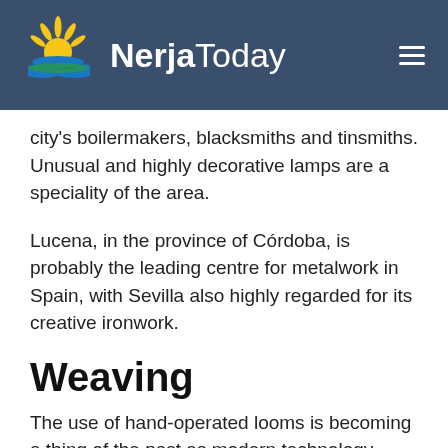NerjaToday
city's boilermakers, blacksmiths and tinsmiths. Unusual and highly decorative lamps are a speciality of the area.
Lucena, in the province of Córdoba, is probably the leading centre for metalwork in Spain, with Sevilla also highly regarded for its creative ironwork.
Weaving
The use of hand-operated looms is becoming a thing of the past as modern technology takes over, but they do still exist in some of the more remote areas, being used to produce special articles for export purposes.
There is Grazalema in Cádiz province which produces wool